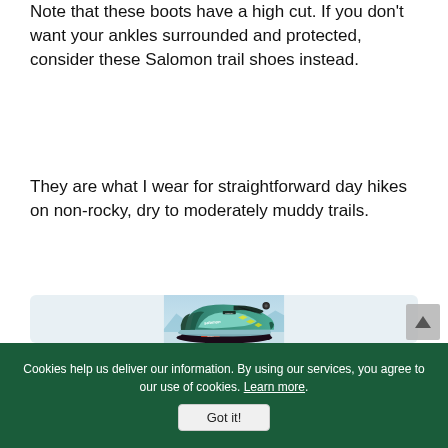Note that these boots have a high cut. If you don't want your ankles surrounded and protected, consider these Salomon trail shoes instead.
They are what I wear for straightforward day hikes on non-rocky, dry to moderately muddy trails.
[Figure (photo): Photo of a teal/green Salomon trail shoe (low-cut, Gore-Tex) with yellow accents, shown on a light blue-gray background.]
Cookies help us deliver our information. By using our services, you agree to our use of cookies. Learn more. Got it!